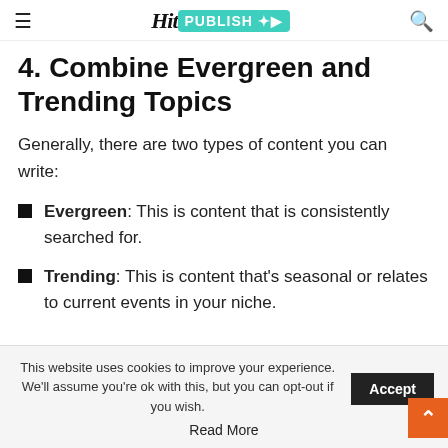Hit PUBLISH
4. Combine Evergreen and Trending Topics
Generally, there are two types of content you can write:
Evergreen: This is content that is consistently searched for.
Trending: This is content that's seasonal or relates to current events in your niche.
This website uses cookies to improve your experience. We'll assume you're ok with this, but you can opt-out if you wish. Accept
Read More